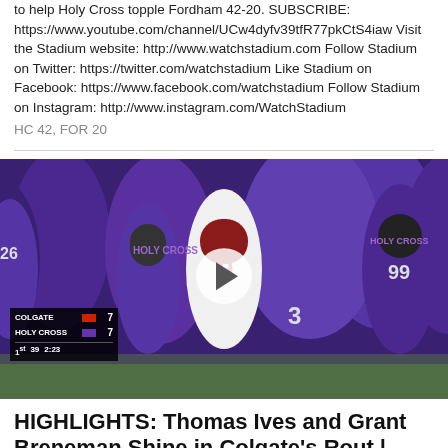to help Holy Cross topple Fordham 42-20. SUBSCRIBE: https://www.youtube.com/channel/UCw4dyfv39tfR77pkCtS4iaw Visit the Stadium website: http://www.watchstadium.com Follow Stadium on Twitter: https://twitter.com/watchstadium Like Stadium on Facebook: https://www.facebook.com/watchstadium Follow Stadium on Instagram: http://www.instagram.com/WatchStadium HC 42, FOR 20
[Figure (photo): Football game photo showing Holy Cross players in purple jerseys and a Colgate player in white with maroon helmet, with a scoreboard overlay showing Colgate 7, Holy Cross 7, 1st quarter, 39 yards, 2:23. A play button circle overlay is centered on the image.]
HIGHLIGHTS: Thomas Ives and Grant Breneman Shine in Colgate's Rout | Stadium
CGT 45, HC 7